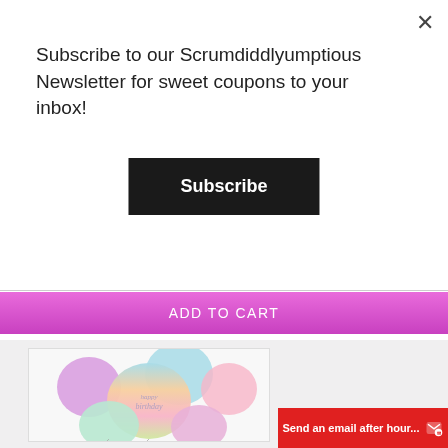Subscribe to our Scrumdiddlyumptious Newsletter for sweet coupons to your inbox!
Subscribe
ADD TO CART
[Figure (photo): Pastel rainbow foil balloons with 'happy birthday' text, arranged in a bouquet]
Send an email after hour...